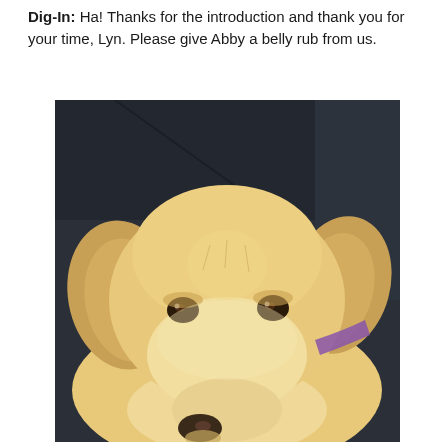Dig-In: Ha! Thanks for the introduction and thank you for your time, Lyn. Please give Abby a belly rub from us.
[Figure (photo): A yellow Labrador Retriever dog resting its head on a dark leather couch, looking directly at the camera with a calm expression. The dog is wearing a purple collar.]